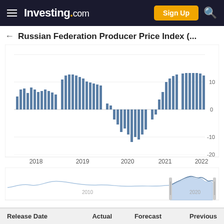Investing.com — Sign Up
Russian Federation Producer Price Index (...
[Figure (bar-chart): Bar chart showing Russian Federation PPI from 2018 to 2022, with positive values around 5-12 in 2018-2019, deep negative trough around -13 in mid-2020, recovery through 2021, and high positive values ~10-12 in 2022.]
[Figure (area-chart): Small area/line minimap showing historical PPI data from around 2010 to 2022, with a highlighted selected region around 2020-2022.]
| Release Date | Actual | Forecast | Previous |
| --- | --- | --- | --- |